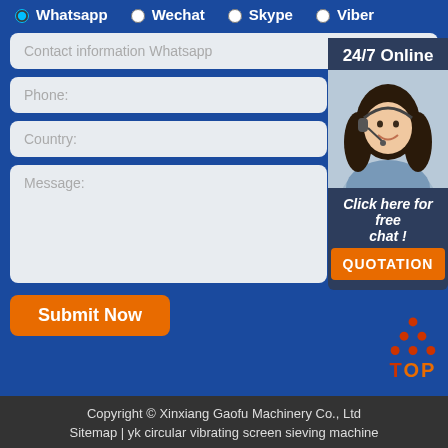Whatsapp  Wechat  Skype  Viber
Contact information Whatsapp
Phone:
24/7 Online
Country:
Message:
Click here for free chat !
QUOTATION
Submit Now
[Figure (photo): Customer service agent woman with headset, smiling, 24/7 online support]
[Figure (logo): TOP logo with orange triangle/dots above and orange text TOP]
Copyright © Xinxiang Gaofu Machinery Co., Ltd
Sitemap | yk circular vibrating screen sieving machine